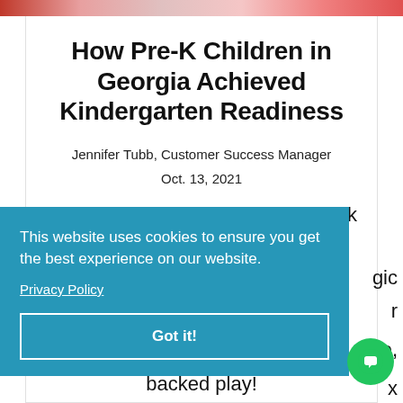[Figure (photo): Top strip of an image showing children, cropped to a thin band at the top of the page]
How Pre-K Children in Georgia Achieved Kindergarten Readiness
Jennifer Tubb, Customer Success Manager
Oct. 13, 2021
This past summer, over 2,200 pre-k
This website uses cookies to ensure you get the best experience on our website.
Privacy Policy
Got it!
backed play!